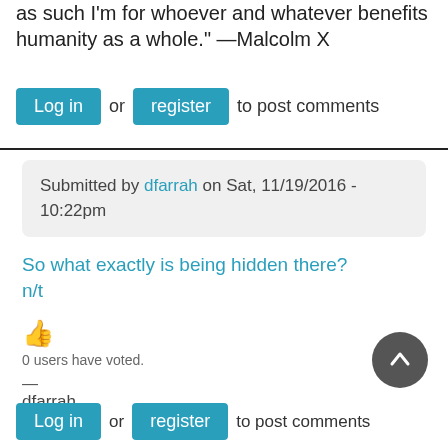as such I'm for whoever and whatever benefits humanity as a whole." —Malcolm X
Log in or register to post comments
Submitted by dfarrah on Sat, 11/19/2016 - 10:22pm
So what exactly is being hidden there? n/t
0 users have voted.
—
dfarrah
Log in or register to post comments